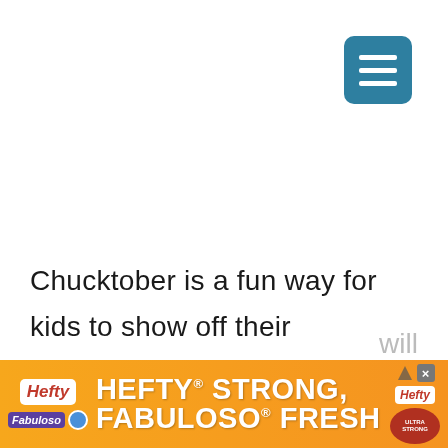[Figure (other): Teal/blue hamburger menu icon button in top-right corner]
Chucktober is a fun way for kids to show off their costumes. Any child who comes to Chuck E. Cheese’s dressed in costume this October will receive 50 free tickets. Further, parents who post a picture of their child in costu... will
[Figure (other): Advertisement banner for Hefty Strong, Fabuloso Fresh product with orange background]